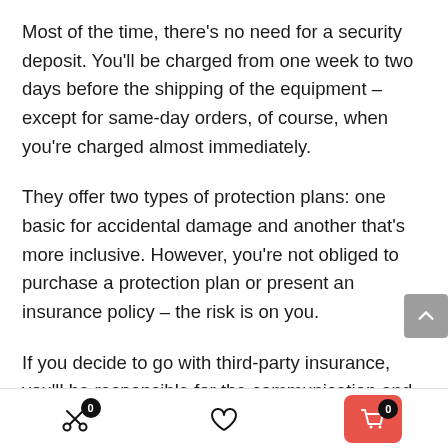Most of the time, there's no need for a security deposit. You'll be charged from one week to two days before the shipping of the equipment – except for same-day orders, of course, when you're charged almost immediately.
They offer two types of protection plans: one basic for accidental damage and another that's more inclusive. However, you're not obliged to purchase a protection plan or present an insurance policy – the risk is on you.
If you decide to go with third-party insurance, you'll be responsible for the communication and payment